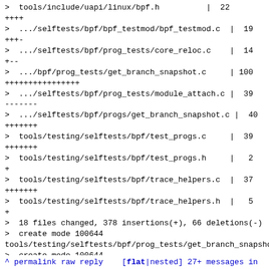> tools/include/uapi/linux/bpf.h | 22
++++
> .../selftests/bpf/bpf_testmod/bpf_testmod.c | 19
+++-
> .../selftests/bpf/prog_tests/core_reloc.c | 14
+--
> .../bpf/prog_tests/get_branch_snapshot.c | 100
++++++++++++++++
> .../selftests/bpf/prog_tests/module_attach.c | 39
-------
> .../selftests/bpf/progs/get_branch_snapshot.c | 40
+++++++
> tools/testing/selftests/bpf/test_progs.c | 39
+++++++
> tools/testing/selftests/bpf/test_progs.h | 2
+
> tools/testing/selftests/bpf/trace_helpers.c | 37
+++++++
> tools/testing/selftests/bpf/trace_helpers.h | 5
+
> 18 files changed, 378 insertions(+), 66 deletions(-)
> create mode 100644
tools/testing/selftests/bpf/prog_tests/get_branch_snapsho
> create mode 100644
tools/testing/selftests/bpf/progs/get_branch_snapshot.c
>
> --
> 2.30.2
^ permalink raw reply [flat|nested] 27+ messages in